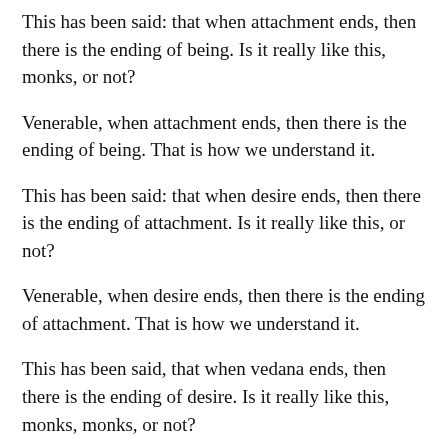This has been said: that when attachment ends, then there is the ending of being. Is it really like this, monks, or not?
Venerable, when attachment ends, then there is the ending of being. That is how we understand it.
This has been said: that when desire ends, then there is the ending of attachment. Is it really like this, or not?
Venerable, when desire ends, then there is the ending of attachment. That is how we understand it.
This has been said, that when vedana ends, then there is the ending of desire. Is it really like this, monks, monks, or not?
Venerable, when vedana ends, then there is the